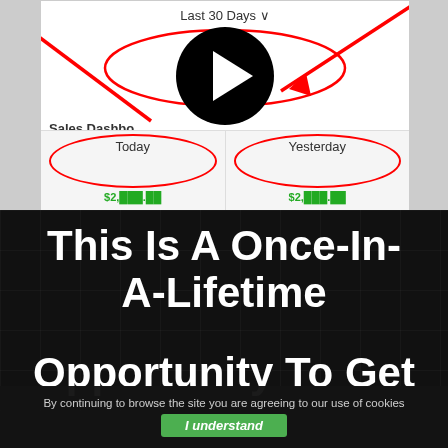[Figure (screenshot): Sales dashboard screenshot showing 'Last 30 Days' dropdown, a large green dollar amount, red oval annotations, red arrow annotations, a play button overlay, and bottom row showing Today and Yesterday columns with red oval highlights. Sales Dashboard label visible.]
This Is A Once-In-A-Lifetime
Opportunity To Get
By continuing to browse the site you are agreeing to our use of cookies
I understand